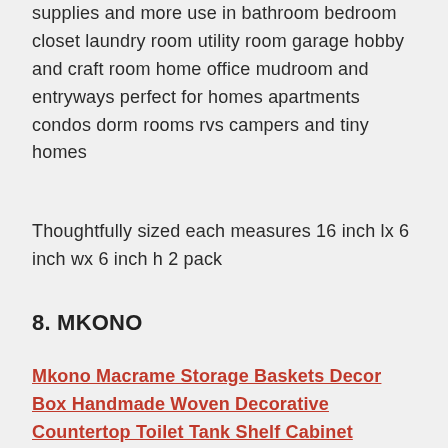supplies and more use in bathroom bedroom closet laundry room utility room garage hobby and craft room home office mudroom and entryways perfect for homes apartments condos dorm rooms rvs campers and tiny homes
Thoughtfully sized each measures 16 inch lx 6 inch wx 6 inch h 2 pack
8. MKONO
Mkono Macrame Storage Baskets Decor Box Handmade Woven Decorative Countertop Toilet Tank Shelf Cabinet Organizer Boho Decor for Bedroom Nursery Livingroom Set of 2, Ivory